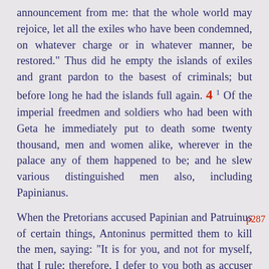announcement from me: that the whole world may rejoice, let all the exiles who have been condemned, on whatever charge or in whatever manner, be restored." Thus did he empty the islands of exiles and grant pardon to the basest of criminals; but before long he had the islands full again. 4 1 Of the imperial freedmen and soldiers who had been with Geta he immediately put to death some twenty thousand, men and women alike, wherever in the palace any of them happened to be; and he slew various distinguished men also, including Papinianus.

When the Pretorians accused Papinian and Patruinus of certain things, Antoninus permitted them to kill the men, saying: "It is for you, and not for myself, that I rule; therefore, I defer to you both as accuser and
p287